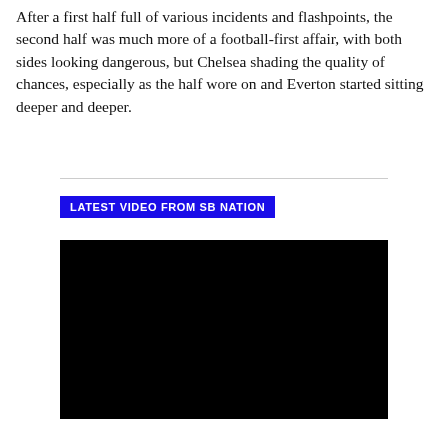After a first half full of various incidents and flashpoints, the second half was much more of a football-first affair, with both sides looking dangerous, but Chelsea shading the quality of chances, especially as the half wore on and Everton started sitting deeper and deeper.
[Figure (other): Horizontal divider line]
LATEST VIDEO FROM SB NATION
[Figure (other): Black video player rectangle]